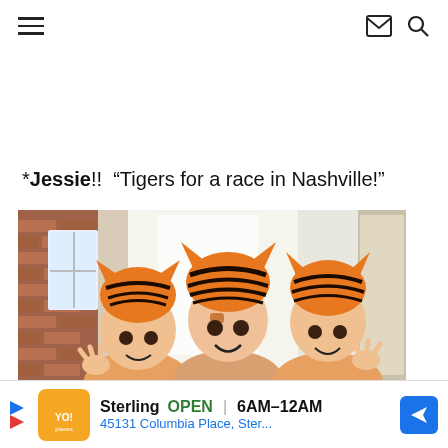Navigation header with hamburger menu, email icon, and search icon
*Jessie!!  “Tigers for a race in Nashville!”
[Figure (photo): Three people wearing orange and black tiger-striped hats and face paint, posing with clawed hands in front of a bright window with a brick wall visible on the left]
Sterling  OPEN  6AM–12AM  45131 Columbia Place, Ster...